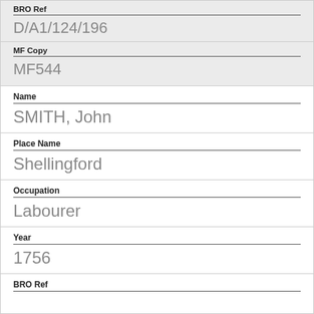BRO Ref
D/A1/124/196
MF Copy
MF544
Name
SMITH, John
Place Name
Shellingford
Occupation
Labourer
Year
1756
BRO Ref